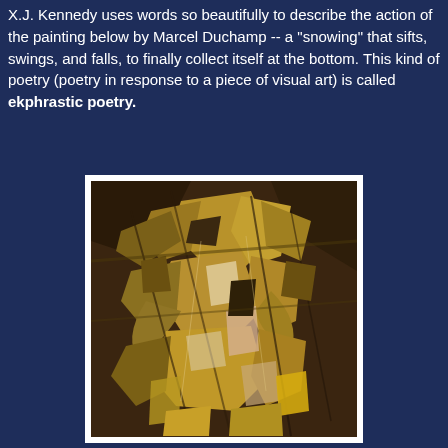X.J. Kennedy uses words so beautifully to describe the action of the painting below by Marcel Duchamp -- a "snowing" that sifts, swings, and falls, to finally collect itself at the bottom. This kind of poetry (poetry in response to a piece of visual art) is called ekphrastic poetry.
[Figure (illustration): Marcel Duchamp's cubist painting 'Nude Descending a Staircase', showing a fragmented, geometric figure in motion rendered in warm golden-brown and ochre tones with angular, overlapping planes suggesting movement down a staircase.]